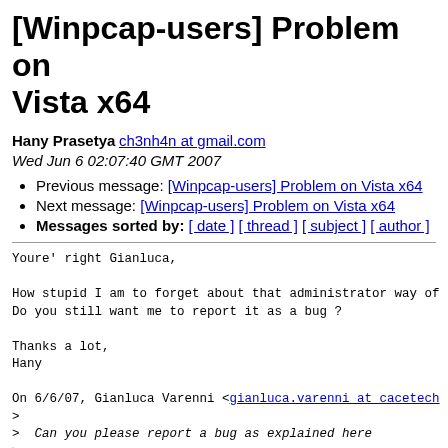[Winpcap-users] Problem on Vista x64
Hany Prasetya ch3nh4n at gmail.com
Wed Jun 6 02:07:40 GMT 2007
Previous message: [Winpcap-users] Problem on Vista x64
Next message: [Winpcap-users] Problem on Vista x64
Messages sorted by: [ date ] [ thread ] [ subject ] [ author ]
Youre' right Gianluca,

How stupid I am to forget about that administrator way of
Do you still want me to report it as a bug ?

Thanks a lot,
Hany

On 6/6/07, Gianluca Varenni <gianluca.varenni at cacetech
>
>  Can you please report a bug as explained here
>
>  http://www.winpcap.org/bugs.htm
> ?